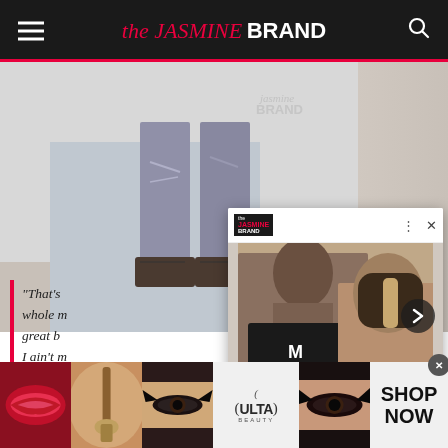the JASMINE BRAND
[Figure (screenshot): Screenshot of the Jasmine Brand website showing a partially visible photo of a person's lower body in torn jeans and boots]
“That’s whole great b I ain’t n to spea way. I a
[Figure (screenshot): Overlay card showing Blueface and his girlfriend Chrisean Rock with headline: Blueface & His Girlfriend Chrisean Rock Promise To End Public Physical Altercations: I...]
Blueface & His Girlfriend Chrisean Rock Promise To End Public Physical Altercations: I...
[Figure (photo): Advertisement strip showing makeup/beauty images and Ulta Beauty logo with SHOP NOW button]